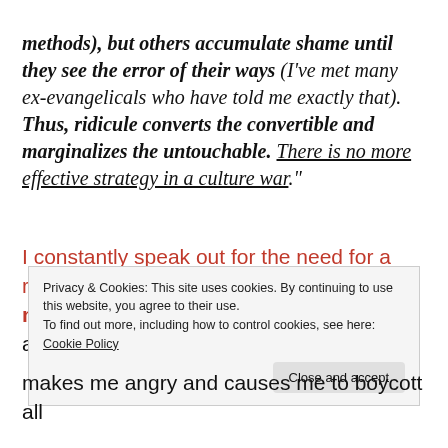methods), but others accumulate shame until they see the error of their ways (I've met many ex-evangelicals who have told me exactly that). Thus, ridicule converts the convertible and marginalizes the untouchable. There is no more effective strategy in a culture war."
I constantly speak out for the need for a reasonable and polite dialog between moderate atheists and religious believers and am
Privacy & Cookies: This site uses cookies. By continuing to use this website, you agree to their use.
To find out more, including how to control cookies, see here: Cookie Policy
Close and accept
makes me angry and causes me to boycott all